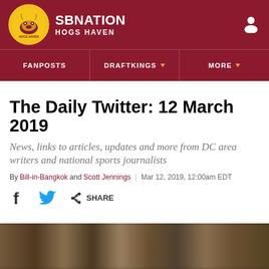SB NATION | HOGS HAVEN
FANPOSTS | DRAFTKINGS | MORE
The Daily Twitter: 12 March 2019
News, links to articles, updates and more from DC area writers and national sports journalists
By Bill-in-Bangkok and Scott Jennings | Mar 12, 2019, 12:00am EDT
SHARE
[Figure (photo): Blurred crowd photo at the bottom of the page]